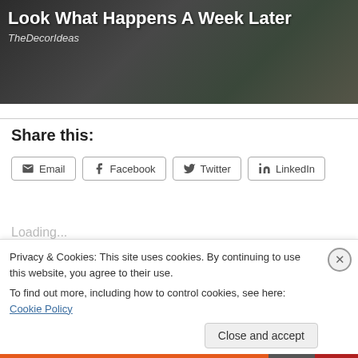[Figure (photo): Dark textured background image (garden/mulch) with overlaid title text 'Look What Happens A Week Later' and italic source label 'TheDecorIdeas']
Share this:
Email  Facebook  Twitter  LinkedIn
Loading...
Related
Privacy & Cookies: This site uses cookies. By continuing to use this website, you agree to their use.
To find out more, including how to control cookies, see here: Cookie Policy
Close and accept